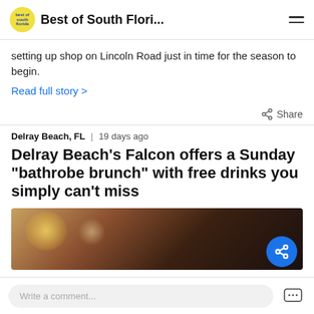Best of South Flori...
setting up shop on Lincoln Road just in time for the season to begin.
Read full story >
Delray Beach, FL  |  19 days ago
Delray Beach's Falcon offers a Sunday "bathrobe brunch" with free drinks you simply can't miss
[Figure (photo): Blurred photo of a person at a restaurant or bar, with bokeh lighting in the background]
Write a comment...